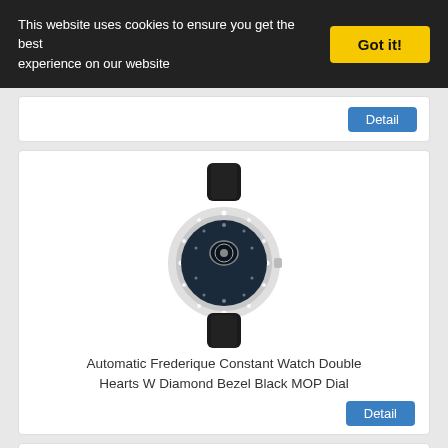This website uses cookies to ensure you get the best experience on our website
Got it!
[Figure (photo): Automatic Frederique Constant watch with diamond bezel and black MOP dial on dark strap]
Automatic Frederique Constant Watch Double Hearts W Diamond Bezel Black MOP Dial
Detail
[Figure (photo): Automatic Gubelin Triple Date Moon Phase vintage watch with cream dial and dark strap]
Automatic Gubelin Triple Date Moon Phase